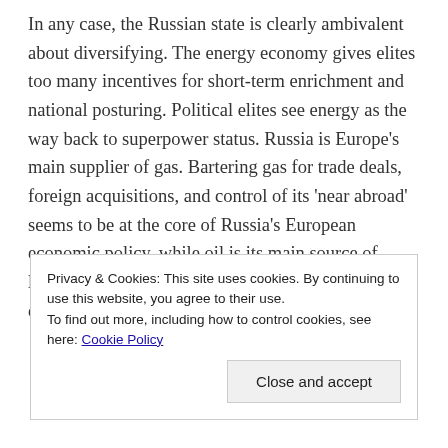In any case, the Russian state is clearly ambivalent about diversifying. The energy economy gives elites too many incentives for short-term enrichment and national posturing. Political elites see energy as the way back to superpower status. Russia is Europe's main supplier of gas. Bartering gas for trade deals, foreign acquisitions, and control of its 'near abroad' seems to be at the core of Russia's European economic policy, while oil is its main source of leverage with China. In the view of one commentator(Christopher Weafer in the Moscow
Privacy & Cookies: This site uses cookies. By continuing to use this website, you agree to their use.
To find out more, including how to control cookies, see here: Cookie Policy
Close and accept